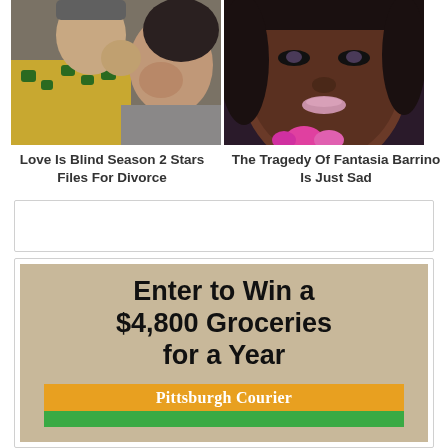[Figure (photo): Couple photo - man kissing woman on cheek, woman covering face with hand, man in yellow floral shirt]
Love Is Blind Season 2 Stars Files For Divorce
[Figure (photo): Portrait of Fantasia Barrino, Black woman with dramatic makeup, pink lipstick, pink floral accessory]
The Tragedy Of Fantasia Barrino Is Just Sad
[Figure (other): Empty advertisement box with border]
[Figure (infographic): Pittsburgh Courier advertisement: Enter to Win a $4,800 Groceries for a Year - beige/kraft paper background with orange Pittsburgh Courier bar and green bar below]